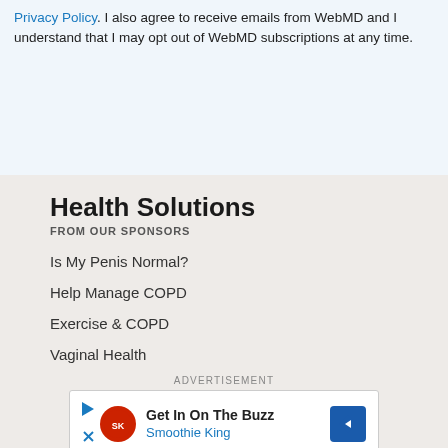Privacy Policy. I also agree to receive emails from WebMD and I understand that I may opt out of WebMD subscriptions at any time.
Health Solutions
FROM OUR SPONSORS
Is My Penis Normal?
Help Manage COPD
Exercise & COPD
Vaginal Health
ADVERTISEMENT
[Figure (other): Advertisement banner for Smoothie King: 'Get In On The Buzz - Smoothie King' with play and close icons on left, Smoothie King logo, and a blue diamond arrow icon on the right.]